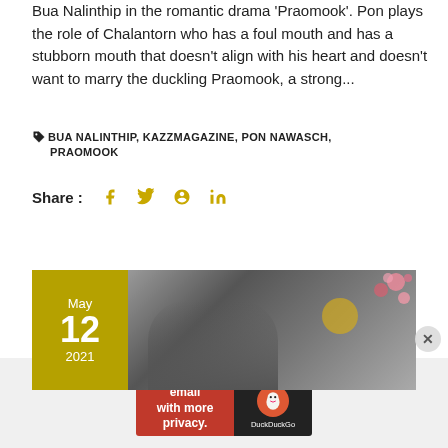Bua Nalinthip in the romantic drama 'Praomook'. Pon plays the role of Chalantorn who has a foul mouth and has a stubborn mouth that doesn't align with his heart and doesn't want to marry the duckling Praomook, a strong...
BUA NALINTHIP, KAZZMAGAZINE, PON NAWASCH, PRAOMOOK
Share : (social icons)
[Figure (photo): Photo of a couple in a romantic drama scene with trees and pink flowers in background. Date badge showing May 12 2021 in olive/gold color on the left side.]
Advertisements
[Figure (other): DuckDuckGo advertisement banner: 'Search, browse, and email with more privacy. All in One Free App' with DuckDuckGo logo on dark background.]